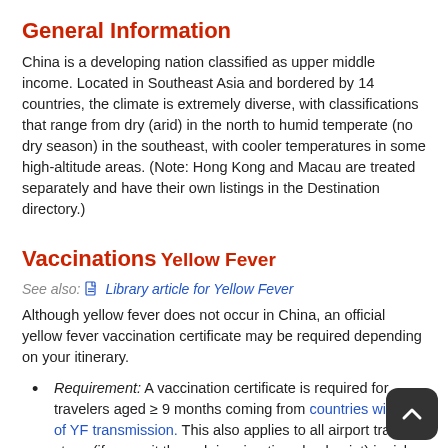General Information
China is a developing nation classified as upper middle income. Located in Southeast Asia and bordered by 14 countries, the climate is extremely diverse, with classifications that range from dry (arid) in the north to humid temperate (no dry season) in the southeast, with cooler temperatures in some high-altitude areas. (Note: Hong Kong and Macau are treated separately and have their own listings in the Destination directory.)
Vaccinations
Yellow Fever
See also: Library article for Yellow Fever
Although yellow fever does not occur in China, an official yellow fever vaccination certificate may be required depending on your itinerary.
Requirement: A vaccination certificate is required for travelers aged ≥ 9 months coming from countries with risk of YF transmission. This also applies to all airport transit stops (if you exit through immigration checkpoint) in risk countries.